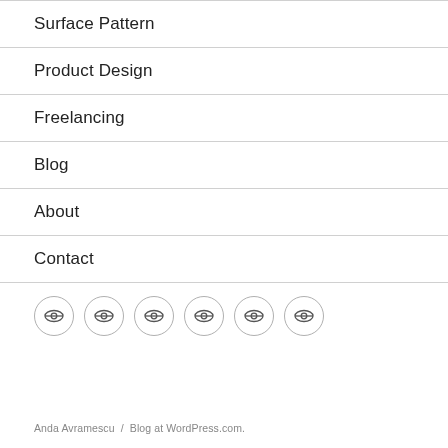Surface Pattern
Product Design
Freelancing
Blog
About
Contact
[Figure (other): Six circular social media icon buttons arranged in a row, each with an eye-like symbol]
Anda Avramescu / Blog at WordPress.com.